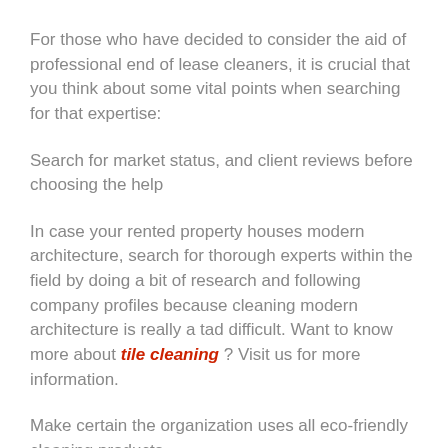For those who have decided to consider the aid of professional end of lease cleaners, it is crucial that you think about some vital points when searching for that expertise:
Search for market status, and client reviews before choosing the help
In case your rented property houses modern architecture, search for thorough experts within the field by doing a bit of research and following company profiles because cleaning modern architecture is really a tad difficult. Want to know more about tile cleaning ? Visit us for more information.
Make certain the organization uses all eco-friendly cleaning products